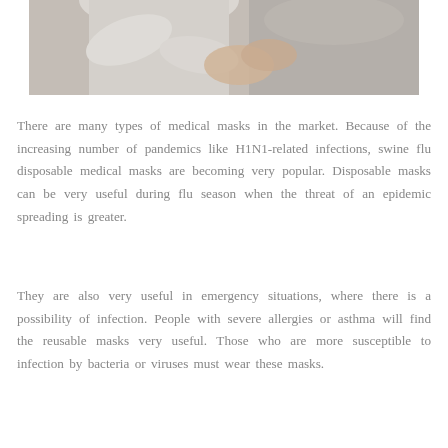[Figure (photo): Photo of two people, one in a white long-sleeve shirt and one in a gray shirt, appearing to put on or adjust a face mask, shown from the torso up against a light background.]
There are many types of medical masks in the market. Because of the increasing number of pandemics like H1N1-related infections, swine flu disposable medical masks are becoming very popular. Disposable masks can be very useful during flu season when the threat of an epidemic spreading is greater.
They are also very useful in emergency situations, where there is a possibility of infection. People with severe allergies or asthma will find the reusable masks very useful. Those who are more susceptible to infection by bacteria or viruses must wear these masks.